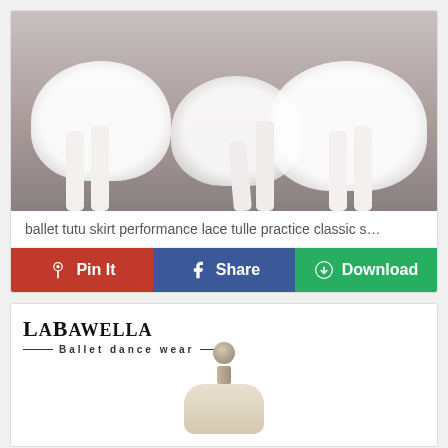[Figure (photo): Ballet dancers in white tutu skirts and pointe shoes, showing legs and skirts from waist down]
ballet tutu skirt performance lace tulle practice classic s…
Pin It  Share  Download
[Figure (logo): LaBawella Ballet Dance Wear logo with text and tagline]
[Figure (photo): Mannequin torso displaying a white ballet dress/tutu skirt product]